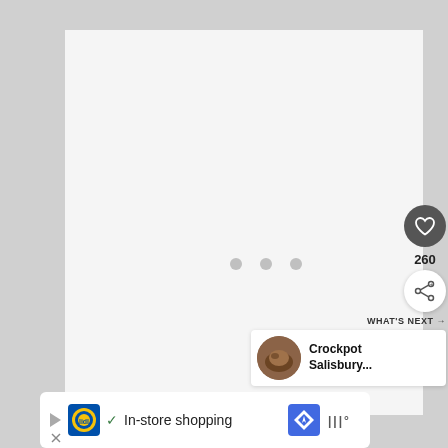[Figure (screenshot): Mobile web page screenshot showing a loading content area (gray background with three loading dots), a dark heart/like button with count 260, a share button, a 'What's Next' card showing 'Crockpot Salisbury...' with a thumbnail, and an advertisement banner for Lidl showing 'In-store shopping' with navigation icons.]
260
WHAT'S NEXT →
Crockpot Salisbury...
In-store shopping